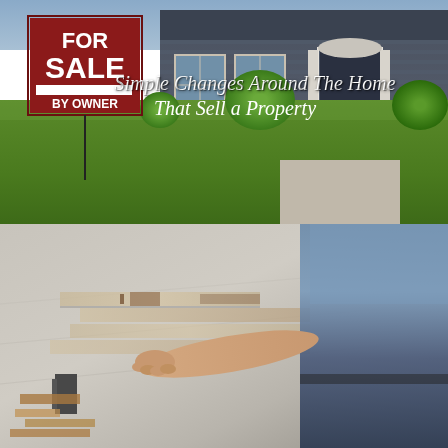[Figure (photo): A red 'FOR SALE BY OWNER' sign in the front yard of a suburban house with green lawn, shrubs, and a house with dark siding and white columns visible in the background. Overlaid cursive text reads 'Simple Changes Around The Home That Sell a Property'.]
Simple Changes Around The Home That Sell a Property
[Figure (photo): A person kneeling on the floor installing laminate or hardwood flooring planks, with tools and materials visible nearby.]